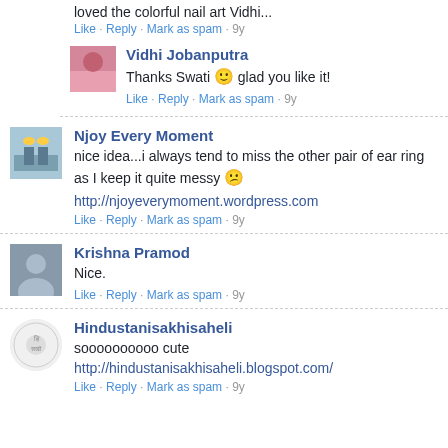loved the colorful nail art Vidhi...
Like · Reply · Mark as spam · 9y
Vidhi Jobanputra
Thanks Swati 🙂 glad you like it!
Like · Reply · Mark as spam · 9y
Njoy Every Moment
nice idea...i always tend to miss the other pair of ear ring as I keep it quite messy 😐
http://njoyeverymoment.wordpress.com
Like · Reply · Mark as spam · 9y
Krishna Pramod
Nice.
Like · Reply · Mark as spam · 9y
Hindustanisakhisaheli
soooooooooo cute http://hindustanisakhisaheli.blogspot.com/
Like · Reply · Mark as spam · 9y